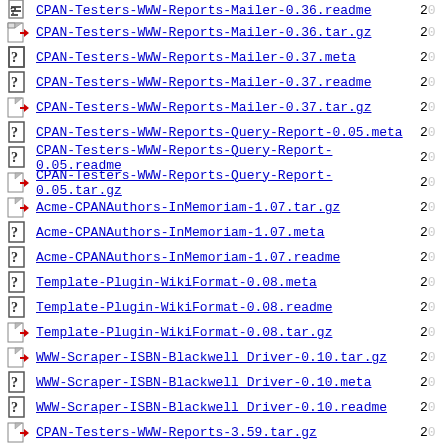CPAN-Testers-WWW-Reports-Mailer-0.36.readme
CPAN-Testers-WWW-Reports-Mailer-0.36.tar.gz
CPAN-Testers-WWW-Reports-Mailer-0.37.meta
CPAN-Testers-WWW-Reports-Mailer-0.37.readme
CPAN-Testers-WWW-Reports-Mailer-0.37.tar.gz
CPAN-Testers-WWW-Reports-Query-Report-0.05.meta
CPAN-Testers-WWW-Reports-Query-Report-0.05.readme
CPAN-Testers-WWW-Reports-Query-Report-0.05.tar.gz
Acme-CPANAuthors-InMemoriam-1.07.tar.gz
Acme-CPANAuthors-InMemoriam-1.07.meta
Acme-CPANAuthors-InMemoriam-1.07.readme
Template-Plugin-WikiFormat-0.08.meta
Template-Plugin-WikiFormat-0.08.readme
Template-Plugin-WikiFormat-0.08.tar.gz
WWW-Scraper-ISBN-Blackwell Driver-0.10.tar.gz
WWW-Scraper-ISBN-Blackwell Driver-0.10.meta
WWW-Scraper-ISBN-Blackwell Driver-0.10.readme
CPAN-Testers-WWW-Reports-3.59.tar.gz